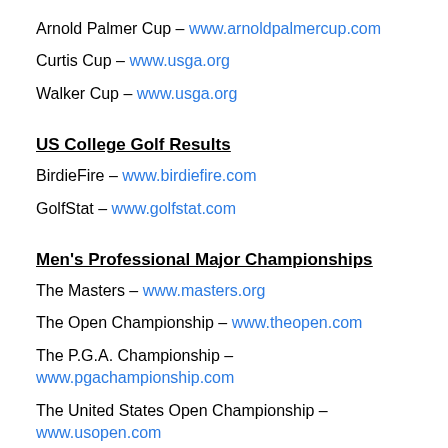Arnold Palmer Cup – www.arnoldpalmercup.com
Curtis Cup – www.usga.org
Walker Cup – www.usga.org
US College Golf Results
BirdieFire – www.birdiefire.com
GolfStat – www.golfstat.com
Men's Professional Major Championships
The Masters – www.masters.org
The Open Championship – www.theopen.com
The P.G.A. Championship – www.pgachampionship.com
The United States Open Championship – www.usopen.com
Men's Professional Golf Tours
DP World Tour – www.europeantour.com